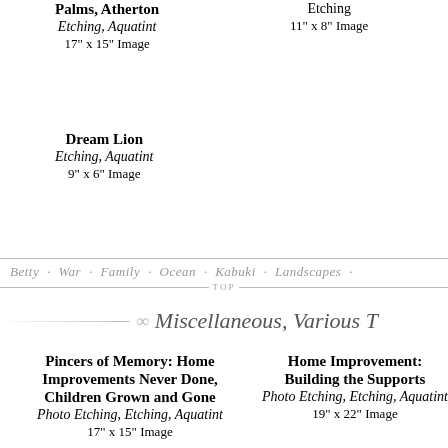Palms, Atherton
Etching, Aquatint
17" x 15" Image
Etching
11" x 8" Image
Dream Lion
Etching, Aquatint
9" x 6" Image
Betty · War · Family · Ocean · Kabuki · Landscapes ·
TOP
Miscellaneous, Various T…
Pincers of Memory: Home Improvements Never Done, Children Grown and Gone
Photo Etching, Etching, Aquatint
17" x 15" Image
Home Improvement: Building the Supports
Photo Etching, Etching, Aquatint
19" x 22" Image